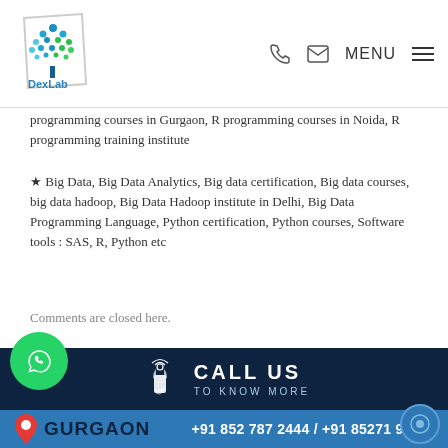[Figure (logo): DexLab Analytics logo with tree made of colorful dots, parallelogram frame, text 'DexLab Analytics']
programming courses in Gurgaon, R programming courses in Noida, R programming training institute
★ Big Data, Big Data Analytics, Big data certification, Big data courses, big data hadoop, Big Data Hadoop institute in Delhi, Big Data Programming Language, Python certification, Python courses, Software tools : SAS, R, Python etc
Comments are closed here.
[Figure (infographic): Dark navy banner with phone/hand icon and text CALL US TO KNOW MORE]
[Figure (infographic): Blue footer bar with WhatsApp circle icon, red location pin, GURGAON text, phone numbers +91 852 787 2444 / +91 85271 91444, and chat circle icon]